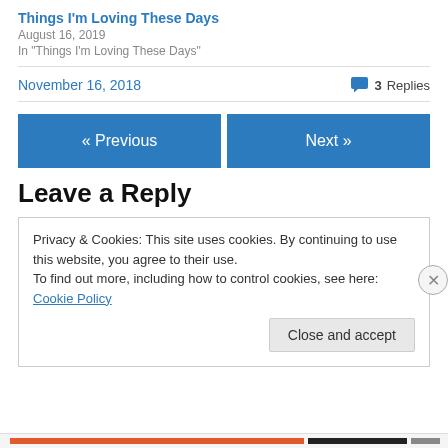Things I'm Loving These Days
August 16, 2019
In "Things I'm Loving These Days"
November 16, 2018
3 Replies
« Previous
Next »
Leave a Reply
Privacy & Cookies: This site uses cookies. By continuing to use this website, you agree to their use.
To find out more, including how to control cookies, see here: Cookie Policy
Close and accept